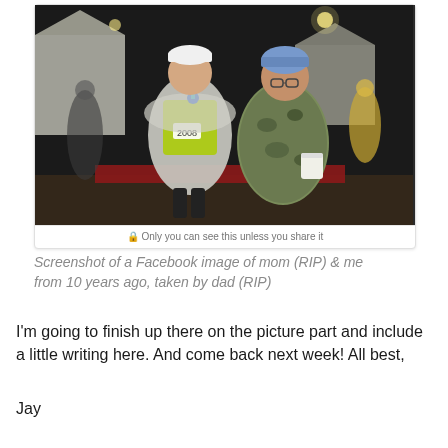[Figure (photo): A photo showing two people posing together outdoors at night at what appears to be a running event. One person (male, wearing a yellow-green race vest with bib number 2008, a silver mylar blanket, and a blue medal) stands next to an older woman wearing camouflage clothing and holding a cup. Tents and other people are visible in the background.]
Only you can see this unless you share it
Screenshot of a Facebook image of mom (RIP) & me from 10 years ago, taken by dad (RIP)
I'm going to finish up there on the picture part and include a little writing here. And come back next week! All best,
Jay